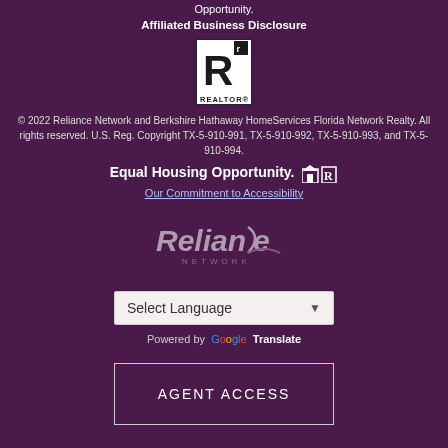Opportunity.
Affiliated Business Disclosure
[Figure (logo): REALTOR logo — stylized R in a square box with 'REALTOR' text below]
© 2022 Reliance Network and Berkshire Hathaway HomeServices Florida Network Realty. All rights reserved. U.S. Reg. Copyright TX-5-910-991, TX-5-910-992, TX-5-910-993, and TX-5-910-994.
Equal Housing Opportunity. [icons]
Our Commitment to Accessibility
[Figure (logo): Reliance Network logo in muted purple/grey tones with stylized text and swoosh]
Select Language
Powered by Google Translate
AGENT ACCESS